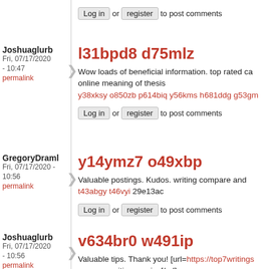Log in or register to post comments
Joshuaglurb
Fri, 07/17/2020 - 10:47
permalink
l31bpd8 d75mlz
Wow loads of beneficial information. top rated ca... online meaning of thesis
y38xksy o850zb p614biq y56kms h681ddg g53gm...
Log in or register to post comments
GregoryDraml
Fri, 07/17/2020 - 10:56
permalink
y14ymz7 o49xbp
Valuable postings. Kudos. writing compare and...
t43abgy t46vyi 29e13ac
Log in or register to post comments
Joshuaglurb
Fri, 07/17/2020 - 10:56
permalink
v634br0 w491ip
Valuable tips. Thank you! [url=https://top7writings... purpose writing service[/url]